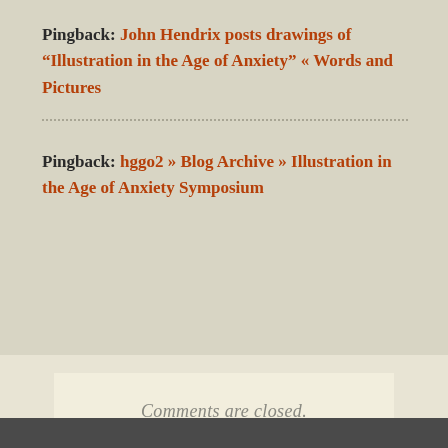Pingback: John Hendrix posts drawings of “Illustration in the Age of Anxiety” « Words and Pictures
Pingback: hggo2 » Blog Archive » Illustration in the Age of Anxiety Symposium
Comments are closed.